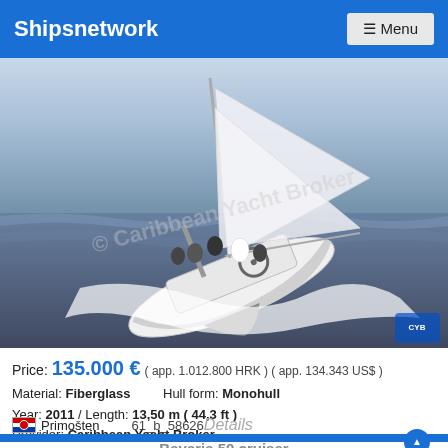Shipsnetwork   ☰ Menu
[Figure (photo): Sailing yacht Bavaria 50 cruiser heeling sharply to starboard under full sail in choppy water with crew on deck, watermarked by Caribbean Yacht Broker]
Price: 135.000 € ( app. 1.012.800 HRK ) ( app. 134.343 US$ )
Material: Fiberglass   Hull form: Monohull
Year: 2011 / Length: 13,50 m ( 44,3 ft )
Provider: Caribbean Yacht Broker
🇭🇷 Primošten   61_b_58626   Details
Bavaria 50 cruiser